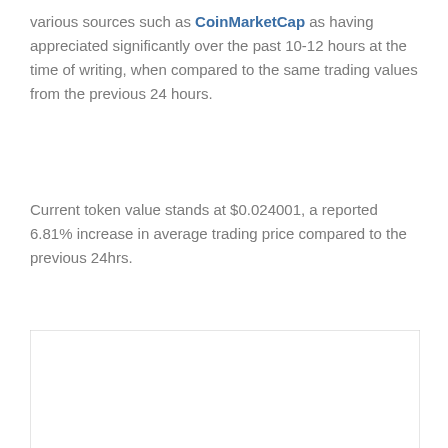various sources such as CoinMarketCap as having appreciated significantly over the past 10-12 hours at the time of writing, when compared to the same trading values from the previous 24 hours.
Current token value stands at $0.024001, a reported 6.81% increase in average trading price compared to the previous 24hrs.
[Figure (other): Empty image placeholder box with a broken image icon at the bottom left]